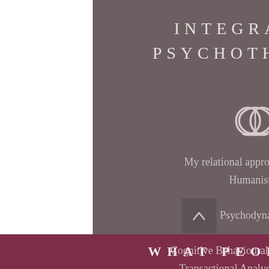INTEGRATIVE PSYCHOTHERAPY
[Figure (illustration): White abstract overlapping circles/eye-like symbol icon]
My relational approach draws on Humanistic, Psychodynamic, Cognitive Behavioural Therapy (CBT), Transactional Analysis, and Gestalt modalities.
WHAT PEOPLE SAY